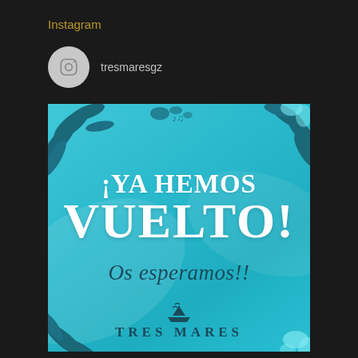Instagram
tresmaresgz
[Figure (illustration): Instagram post from tresmaresgz showing a teal/turquoise promotional graphic with tropical leaf decorations, large white bold text reading '¡YA HEMOS VUELTO!', dark teal italic text 'Os esperamos!!', and the Tres Mares logo with a boat icon at the bottom.]